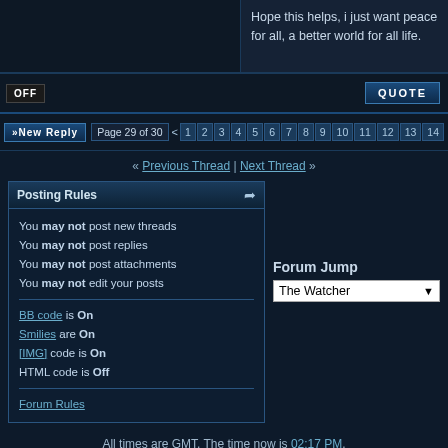Hope this helps, i just want peace for all, a better world for all life.
OFF  QUOTE
»New Reply  Page 29 of 30  <  1  2  3  4  5  6  7  8  9  10  11  12  13  14
« Previous Thread | Next Thread »
Posting Rules
You may not post new threads
You may not post replies
You may not post attachments
You may not edit your posts
BB code is On
Smilies are On
[IMG] code is On
HTML code is Off
Forum Rules
Forum Jump
The Watcher
All times are GMT. The time now is 02:17 PM.
-- Avalon Electric
Old Project Avalon (ARCHIVE) 2008-2010 - Archive - Top
Powered by vBulletin® Version 3.8.4 Copyright ©2000 - 2022, Jelsoft Enterprises Ltd. Project Avalon